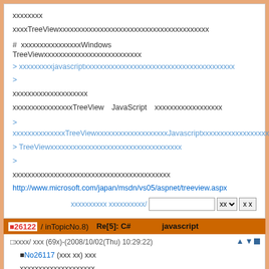xxxxxxxx
xxxxTreeViewxxxxxxxxxxxxxxxxxxxxxxxxxxxxxxxxxxxxxxxx
# xxxxxxxxxxxxxxxxWindowsxxxxxxxxTreeViewxxxxxxxxxxxxxxxxxxxxxxxxxx
> xxxxxxxxxjavascriptxxxxxxxxxxxxxxxxxxxxxxxxxxxxxxxxxxxxxxxx
>
xxxxxxxxxxxxxxxxxxxx
xxxxxxxxxxxxxxxxTreeViewxJavaScriptxxxxxxxxxxxxxxxxxx
> xxxxxxxxxxxxxxTreeViewxxxxxxxxxxxxxxxxxxxJavascriptxxxxxxxxxxxxxxxxxxxxxxxxxxxxxxxx
> TreeViewxxxxxxxxxxxxxxxxxxxxxxxxxxxxxxxxxxx
>
xxxxxxxxxxxxxxxxxxxxxxxxxxxxxxxxxxxxxxxxxx
http://www.microsoft.com/japan/msdn/vs05/aspnet/treeview.aspx
xxxxxxxxxx/ ■26122 / inTopicNo.8)   Re[5]: C#xxxxxxxxxjavascriptxxxxxxxxxxxxxxxxx
□xxxx/ xxx (69x)-(2008/10/02(Thu) 10:29:22)
■No26117 (xxx xx) xxx
xxxxxxxxxxxxxxxxxxxx
xxxxxxxxxxxxxxxxxxxxxxxxxx
> xxxx<%#x<%-=xxxxxxxxxxxxxxxxxxxxxxxxxxxxxxxx
> xxxxxxxxxxxxxxxxxxxx     xxxxxxxxxxxxxxxx
xxxxxxxxxxxxxxxxxxxxxxxxxxxxxxxxxxxxxxxx